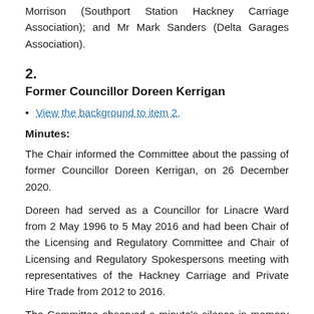Morrison (Southport Station Hackney Carriage Association); and Mr Mark Sanders (Delta Garages Association).
2.
Former Councillor Doreen Kerrigan
View the background to item 2.
Minutes:
The Chair informed the Committee about the passing of former Councillor Doreen Kerrigan, on 26 December 2020.
Doreen had served as a Councillor for Linacre Ward from 2 May 1996 to 5 May 2016 and had been Chair of the Licensing and Regulatory Committee and Chair of Licensing and Regulatory Spokespersons meeting with representatives of the Hackney Carriage and Private Hire Trade from 2012 to 2016.
The Committee observed a minute's silence in memory of Doreen Kerrigan.